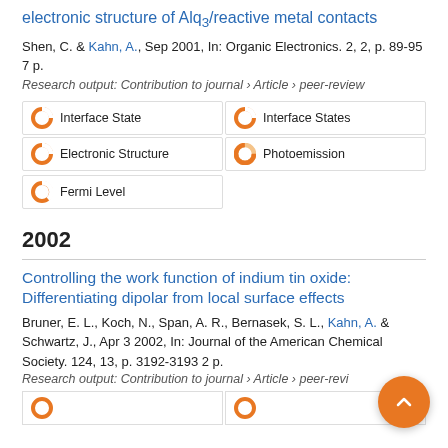electronic structure of Alq3/reactive metal contacts
Shen, C. & Kahn, A., Sep 2001, In: Organic Electronics. 2, 2, p. 89-95 7 p.
Research output: Contribution to journal › Article › peer-review
Interface State
Interface States
Electronic Structure
Photoemission
Fermi Level
2002
Controlling the work function of indium tin oxide: Differentiating dipolar from local surface effects
Bruner, E. L., Koch, N., Span, A. R., Bernasek, S. L., Kahn, A. & Schwartz, J., Apr 3 2002, In: Journal of the American Chemical Society. 124, 13, p. 3192-3193 2 p.
Research output: Contribution to journal › Article › peer-review